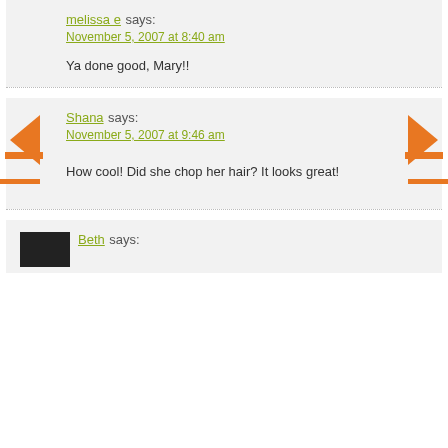melissa e says: November 5, 2007 at 8:40 am
Ya done good, Mary!!
Shana says: November 5, 2007 at 9:46 am
How cool! Did she chop her hair? It looks great!
Beth says: